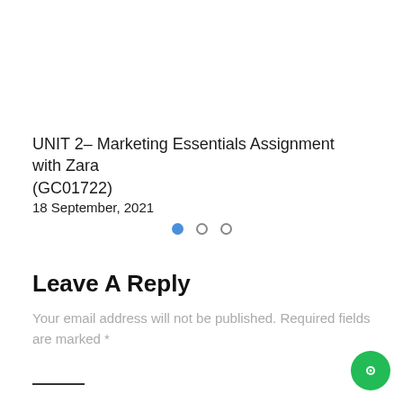UNIT 2– Marketing Essentials Assignment with Zara (GC01722)
18 September, 2021
[Figure (other): Pagination dots: one filled blue circle and two empty circles]
Leave A Reply
Your email address will not be published. Required fields are marked *